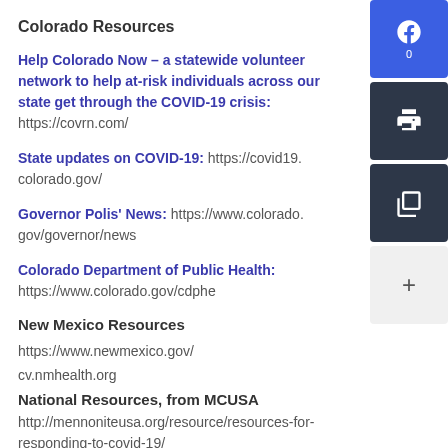Colorado Resources
Help Colorado Now – a statewide volunteer network to help at-risk individuals across our state get through the COVID-19 crisis: https://covrn.com/
State updates on COVID-19: https://covid19.colorado.gov/
Governor Polis' News: https://www.colorado.gov/governor/news
Colorado Department of Public Health: https://www.colorado.gov/cdphe
New Mexico Resources
https://www.newmexico.gov/
cv.nmhealth.org
National Resources, from MCUSA
http://mennoniteusa.org/resource/resources-for-responding-to-covid-19/